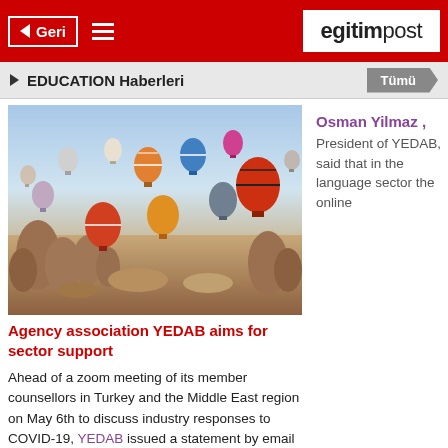Geri | egitimpost
EDUCATION Haberleri | Tümü
[Figure (photo): Hot air balloons flying over Cappadocia landscape with rocky terrain]
Agency association YEDAB aims for sector support
Ahead of a zoom meeting of its member counsellors in Turkey and the Middle East region on May 6th to discuss industry responses to COVID-19, YEDAB issued a statement by email to partners and stakeholders and also posted on the StudyTravel
Osman Yilmaz , President of YEDAB, said that in the language sector the online